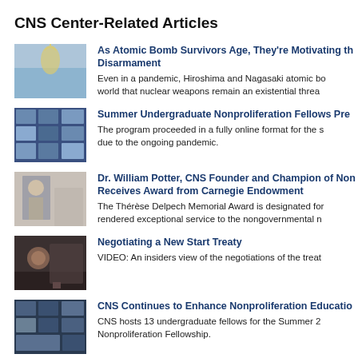CNS Center-Related Articles
As Atomic Bomb Survivors Age, They're Motivating the World Toward Disarmament
Even in a pandemic, Hiroshima and Nagasaki atomic bomb survivors are reminding the world that nuclear weapons remain an existential threat.
Summer Undergraduate Nonproliferation Fellows Present Research
The program proceeded in a fully online format for the second consecutive year due to the ongoing pandemic.
Dr. William Potter, CNS Founder and Champion of Nonproliferation, Receives Award from Carnegie Endowment
The Thérèse Delpech Memorial Award is designated for an individual who has rendered exceptional service to the nongovernmental nuclear nonproliferation.
Negotiating a New Start Treaty
VIDEO: An insiders view of the negotiations of the treaty.
CNS Continues to Enhance Nonproliferation Education
CNS hosts 13 undergraduate fellows for the Summer 2021 Undergraduate Nonproliferation Fellowship.
Masters Students in Dual Degree Program Defend Their Research
Students from Russia, the United States and South Korea...